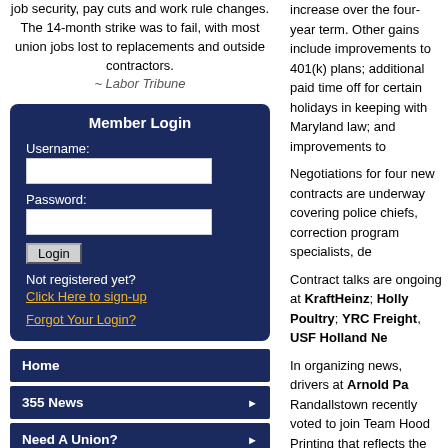job security, pay cuts and work rule changes. The 14-month strike was to fail, with most union jobs lost to replacements and outside contractors.
~ Labor Tribune
[Figure (screenshot): Member Login form with username field, password field, login button, sign-up link, and forgot login link on dark navy background]
Home
355 News
Need A Union?
Welcome to 355
increase over the four-year term. Other gains include improvements to 401(k) plans; additional paid time off for certain holidays in keeping with Maryland law; and improvements to...
Negotiations for four new contracts are underway covering police chiefs, correction program specialists, de...
Contract talks are ongoing at KraftHeinz; Holly Poultry; YRC Freight, USF Holland Ne...
In organizing news, drivers at Arnold Pa... Randallstown recently voted to join Team... Hood Printing that reflects the Teamster ... Negotiations for a first contract continue...